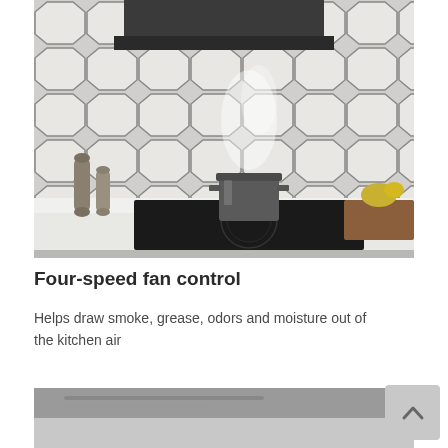[Figure (photo): Kitchen scene showing a range hood above an induction cooktop with a steaming pot, hexagonal white tile backsplash, pepper grinders on the left, a cutting board with food on the right]
Four-speed fan control
Helps draw smoke, grease, odors and moisture out of the kitchen air
[Figure (photo): Partial view of kitchen appliance, bottom of page]